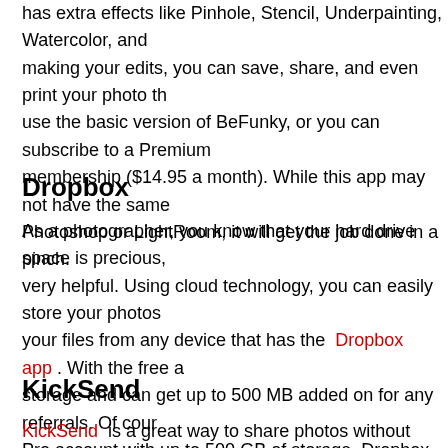has extra effects like Pinhole, Stencil, Underpainting, Watercolor, and making your edits, you can save, share, and even print your photo th use the basic version of BeFunky, or you can subscribe to a Premium membership ($14.95 a month). While this app may not have the same Photoshop or LightRoom, it will get the job done in a pinch.
Dropbox
As a photographer, you know that your hard drive space is precious, very helpful. Using cloud technology, you can easily store your photos your files from any device that has the Dropbox app . With the free a storage and can get up to 500 MB added on for any referrals. Of cour Pro account with up to 500 GB of storage. Dropbox also makes it eas even non-Dropbox users. If you have clients you would like to collabo update changes that you or your client makes to any of the files. Sinc than just your web browser, you can view your photos and files no ma
KickSend
KickSend is a great way to share photos without losing any quality.